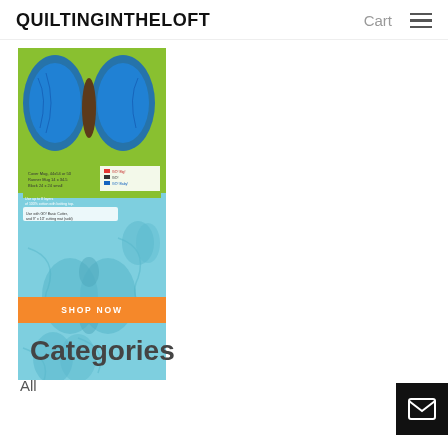QUILTINGINTHELOFT  Cart ≡
[Figure (photo): Product image of a quilting pattern featuring blue butterfly shapes on teal background with a green top panel showing product details, and an orange SHOP NOW button overlay]
Categories
All